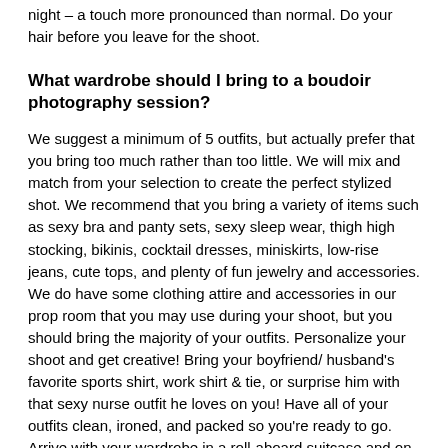night – a touch more pronounced than normal. Do your hair before you leave for the shoot.
What wardrobe should I bring to a boudoir photography session?
We suggest a minimum of 5 outfits, but actually prefer that you bring too much rather than too little. We will mix and match from your selection to create the perfect stylized shot. We recommend that you bring a variety of items such as sexy bra and panty sets, sexy sleep wear, thigh high stocking, bikinis, cocktail dresses, miniskirts, low-rise jeans, cute tops, and plenty of fun jewelry and accessories. We do have some clothing attire and accessories in our prop room that you may use during your shoot, but you should bring the majority of your outfits. Personalize your shoot and get creative! Bring your boyfriend/ husband's favorite sports shirt, work shirt & tie, or surprise him with that sexy nurse outfit he loves on you! Have all of your outfits clean, ironed, and packed so you're ready to go. Arrive with your wardrobe in a roll-aboard suitcase and on hangers – we have a clothes rack and wardrobe area for you.
What is Artistic Nude Photography?